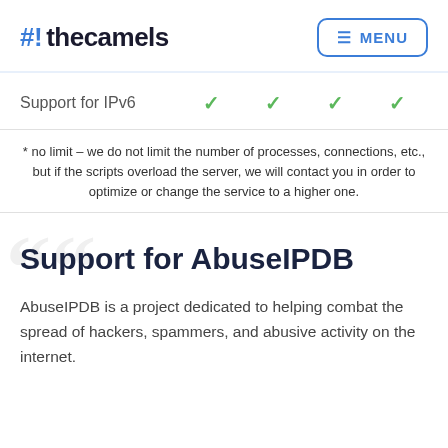#! thecamels  MENU
| Feature | Plan 1 | Plan 2 | Plan 3 | Plan 4 |
| --- | --- | --- | --- | --- |
| Support for IPv6 | ✓ | ✓ | ✓ | ✓ |
* no limit – we do not limit the number of processes, connections, etc., but if the scripts overload the server, we will contact you in order to optimize or change the service to a higher one.
Support for AbuseIPDB
AbuseIPDB is a project dedicated to helping combat the spread of hackers, spammers, and abusive activity on the internet.